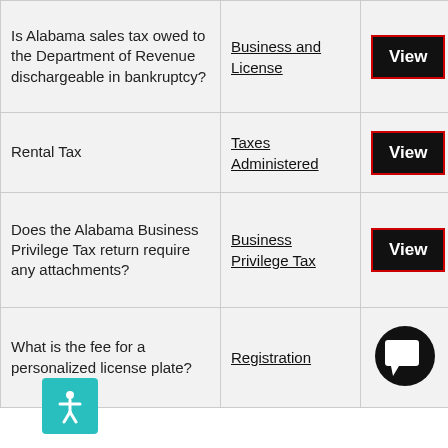| Question | Category | Action |
| --- | --- | --- |
| Is Alabama sales tax owed to the Department of Revenue dischargeable in bankruptcy? | Business and License | View |
| Rental Tax | Taxes Administered | View |
| Does the Alabama Business Privilege Tax return require any attachments? | Business Privilege Tax | View |
| What is the fee for a personalized license plate? | Registration | View |